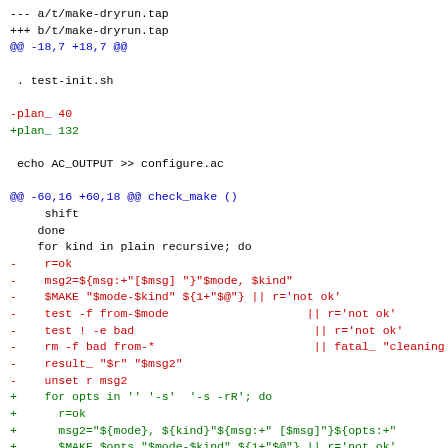--- a/t/make-dryrun.tap
+++ b/t/make-dryrun.tap
@@ -18,7 +18,7 @@

 . test-init.sh

-plan_ 40
+plan_ 132

 echo AC_OUTPUT >> configure.ac

@@ -60,16 +60,18 @@ check_make ()
     shift
    done
    for kind in plain recursive; do
-     r=ok
-     msg2=${msg:+"[$msg] "}"$mode, $kind"
-     $MAKE "$mode-$kind" ${1+"$@"} || r='not ok'
-     test -f from-$mode                    || r='not ok'
-     test ! -e bad                          || r='not ok'
-     rm -f bad from-*                       || fatal_ "cleaning up
-     result_ "$r" "$msg2"
-     unset r msg2
+     for opts in '' '-s'  '-s -rR'; do
+       r=ok
+       msg2="${mode}, ${kind}"${msg:+" [$msg]"}${opts:+"
+       $MAKE $opts "$mode-$kind" ${1+"$@"} || r='not ok'
+       test -f from-$mode                    || r='not ok'
+       test ! -e bad                          || r='not ok'
+       rm -f bad from-*                       || fatal_ "cle
+       result_ "$r" "$msg2"